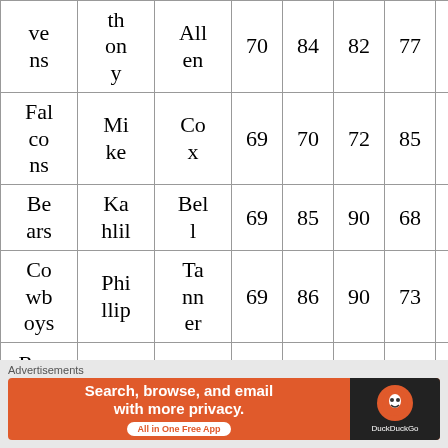| ve ns | th on y | All en | 70 | 84 | 82 | 77 | 92 | 54 |
| Fal co ns | Mi ke | Cox | 69 | 70 | 72 | 85 | 68 | 40 |
| Be ars | Kah lil | Bel l | 69 | 85 | 90 | 68 | 72 | 82 |
| Co wb oys | Phi llip | Tan nn er | 69 | 86 | 90 | 73 | 85 | 66 |
| Ra... | ... |  |  |  |  |  |  |  |
Advertisements
[Figure (other): DuckDuckGo advertisement banner: Search, browse, and email with more privacy. All in One Free App]